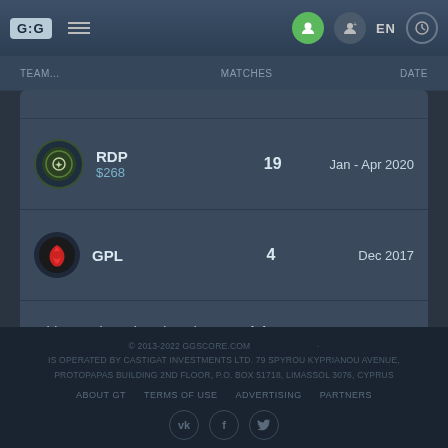G:G navigation bar with menu, account icons, EN language selector
| TEAM | MATCHES | DATE |
| --- | --- | --- |
| RDP $268 | 19 | Jan - Apr 2020 |
| GPL | 4 | Dec 2017 |
| Thailand | 6 | Nov 2017 |
This user has also played as: Patrick
© 2013-2022 GGSCORE.COM · IS OPERATED BY CASTIGAT INVESTMENTS LTD. 79 SPYROU KYPRIANOU AVENUE, PROTOPAPAS BUILDING 2ND FLOOR, P.O. BOX 51718, LIMASSOL 3076, CYPRUS
ABOUT GT   TERMS OF USE   ADVERTISING   PARTNERS